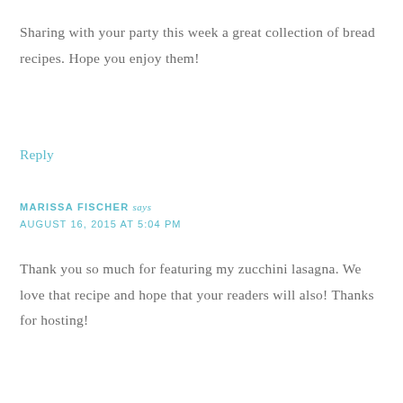Sharing with your party this week a great collection of bread recipes. Hope you enjoy them!
Reply
MARISSA FISCHER says
AUGUST 16, 2015 AT 5:04 PM
Thank you so much for featuring my zucchini lasagna. We love that recipe and hope that your readers will also! Thanks for hosting!